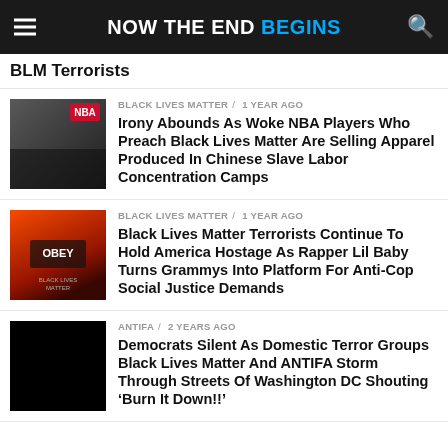NOW THE END BEGINS
BLM Terrorists
BLACK LIVES MATTER / 1 year ago
Irony Abounds As Woke NBA Players Who Preach Black Lives Matter Are Selling Apparel Produced In Chinese Slave Labor Concentration Camps
BLACK LIVES MATTER / 1 year ago
Black Lives Matter Terrorists Continue To Hold America Hostage As Rapper Lil Baby Turns Grammys Into Platform For Anti-Cop Social Justice Demands
ANTIFA / 2 years ago
Democrats Silent As Domestic Terror Groups Black Lives Matter And ANTIFA Storm Through Streets Of Washington DC Shouting ‘Burn It Down!!’